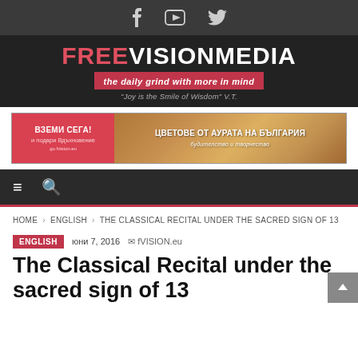FREEVISIONMEDIA — the daily grind with more in mind — "Joy is the Smile of Wisdom" V.T.
[Figure (logo): FreeVisionMedia logo with tagline 'the daily grind with more in mind' and quote 'Joy is the Smile of Wisdom V.T.' on dark background]
[Figure (illustration): Advertisement banner: ВЗЕМИ СЕГА! и подари Вдъхновение — book advertisement for ЦВЕТОВЕ ОТ АУРАТА НА БЪЛГАРИЯ]
HOME › ENGLISH › THE CLASSICAL RECITAL UNDER THE SACRED SIGN OF 13
ENGLISH  юни 7, 2016  fVISION.eu
The Classical Recital under the sacred sign of 13